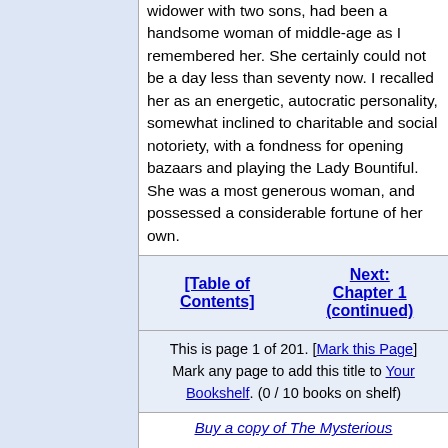widower with two sons, had been a handsome woman of middle-age as I remembered her. She certainly could not be a day less than seventy now. I recalled her as an energetic, autocratic personality, somewhat inclined to charitable and social notoriety, with a fondness for opening bazaars and playing the Lady Bountiful. She was a most generous woman, and possessed a considerable fortune of her own.
[Table of Contents]   Next: Chapter 1 (continued)
This is page 1 of 201. [Mark this Page] Mark any page to add this title to Your Bookshelf. (0 / 10 books on shelf)
Buy a copy of The Mysterious